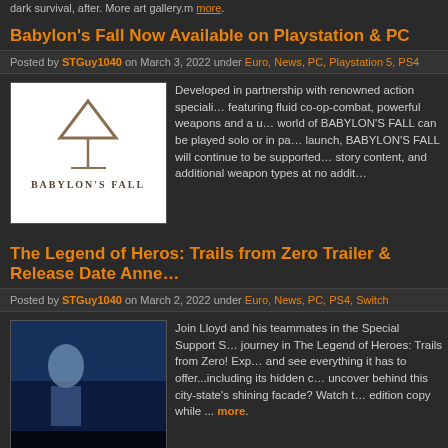...dark survival, after. More art gallery.m more.
Babylon's Fall Now Available on Playstation & PC
Posted by STGuy1040 on March 3, 2022 under Euro, News, PC, Playstation 5, PS4
[Figure (photo): Babylon's Fall game logo on white background]
Developed in partnership with renowned action speciali... featuring fluid co-op-combat, powerful weapons and a u... world of BABYLON'S FALL can be played solo or in pa... launch, BABYLON'S FALL will continue to be supported... story content, and additional weapon types at no addit...
The Legend of Heros: Trails from Zero Trailer & Release Date Anne...
Posted by STGuy1040 on March 2, 2022 under Euro, News, PC, PS4, Switch
[Figure (photo): The Legend of Heroes: Trails from Zero game screenshot with blue tones]
Join Lloyd and his teammates in the Special Support S... journey in The Legend of Heroes: Trails from Zero! Exp... and see everything it has to offer...including its hidden c... uncover behind this city-state's shining facade? Watch t... edition copy while ... more.
Decision Red Daze Blurres the Boundaries Between Genres Ahea...
Posted by STGuy1040 on March 2, 2022 under Euro, News, PC
[Figure (photo): Decision Red Daze game image]
Decision: Red Daze, by indie developer ElyAnvil and...